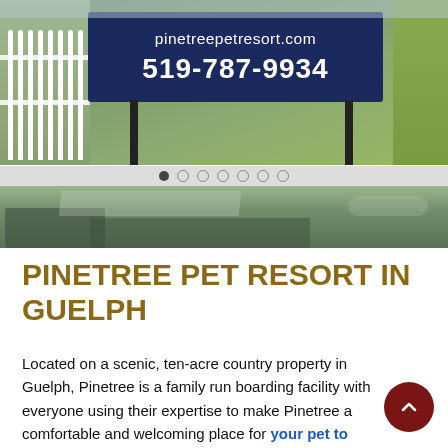[Figure (photo): Outdoor sign for pinetreepetresort.com showing phone number 519-787-9934 on a dark blue board with white picket fence and green lawn in background. Slideshow with dot indicators visible. Background aerial view of resort property.]
PINETREE PET RESORT IN GUELPH
Located on a scenic, ten-acre country property in Guelph, Pinetree is a family run boarding facility with everyone using their expertise to make Pinetree a comfortable and welcoming place for your pet to stay while you are away.